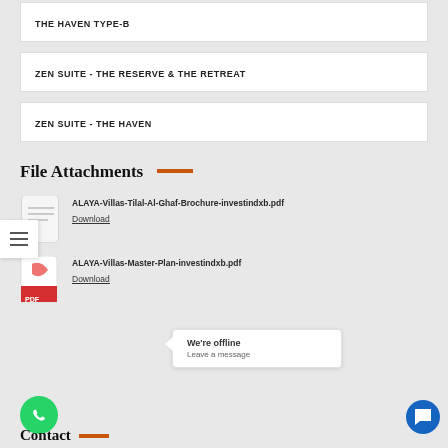THE HAVEN TYPE-B
ZEN SUITE - THE RESERVE & THE RETREAT
ZEN SUITE - THE HAVEN
File Attachments
ALAYA-Villas-Tilal-Al-Ghaf-Brochure-investindxb.pdf
Download
ALAYA-Villas-Master-Plan-investindxb.pdf
Download
We're offline
Leave a message
Contact